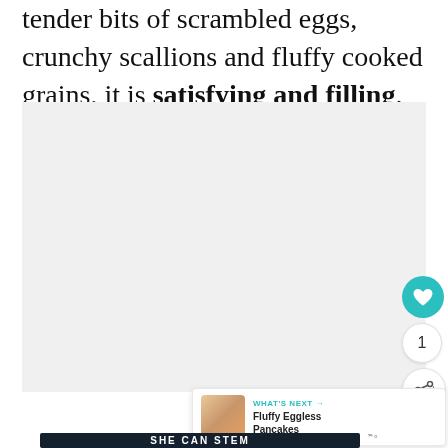tender bits of scrambled eggs, crunchy scallions and fluffy cooked grains, it is satisfying and filling.
[Figure (photo): Large light gray placeholder image area for a food photograph]
[Figure (infographic): Social interaction buttons: teal heart/like button, count of 1, and share button]
[Figure (infographic): What's Next panel showing a thumbnail of pancakes with text 'WHAT'S NEXT → Fluffy Eggless Pancakes']
[Figure (infographic): Dark advertisement banner with text 'SHE CAN STEM' and a logo on the right]